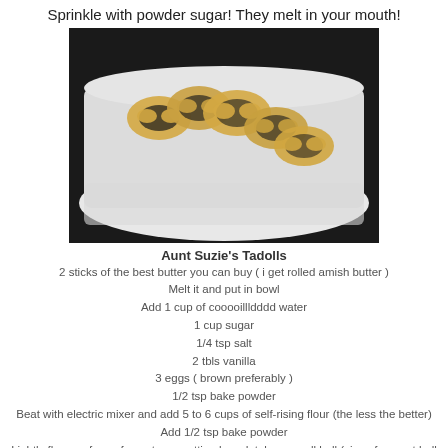Sprinkle with powder sugar!  They melt in your mouth!
[Figure (photo): Photo of pretzel-shaped cookies on a white rectangular plate, dark background]
Aunt Suzie's Tadolls
2 sticks of the best butter you can buy ( i get rolled amish butter )
Melt it and put in bowl
Add 1 cup of cooooillldddd water
1 cup sugar
1/4 tsp salt
2 tbls vanilla
3 eggs ( brown preferably )
1/2 tsp bake powder
Beat with electric mixer and add 5 to 6 cups of self-rising flour (the less the better)
Add 1/2 tsp bake powder
Lightly flour surface of counter or cutting board, take a small ball (size of a meat ball !) and